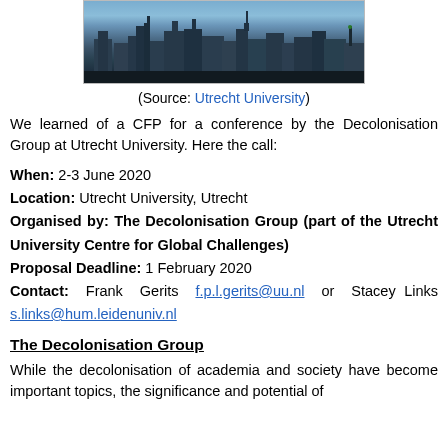[Figure (photo): City skyline photo with tall modern buildings against a cloudy sky, and a crowd in the foreground]
(Source: Utrecht University)
We learned of a CFP for a conference by the Decolonisation Group at Utrecht University. Here the call:
When: 2-3 June 2020
Location: Utrecht University, Utrecht
Organised by: The Decolonisation Group (part of the Utrecht University Centre for Global Challenges)
Proposal Deadline: 1 February 2020
Contact: Frank Gerits f.p.l.gerits@uu.nl or Stacey Links s.links@hum.leidenuniv.nl
The Decolonisation Group
While the decolonisation of academia and society have become important topics, the significance and potential of